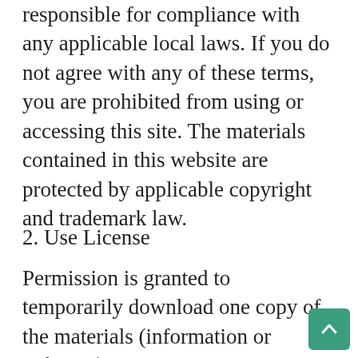responsible for compliance with any applicable local laws. If you do not agree with any of these terms, you are prohibited from using or accessing this site. The materials contained in this website are protected by applicable copyright and trademark law.
2. Use License
Permission is granted to temporarily download one copy of the materials (information or software) on How Many Types' website for personal, non-commercial transitory viewing